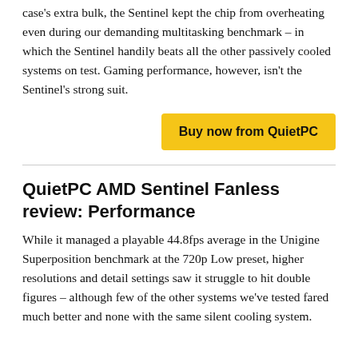case's extra bulk, the Sentinel kept the chip from overheating even during our demanding multitasking benchmark – in which the Sentinel handily beats all the other passively cooled systems on test. Gaming performance, however, isn't the Sentinel's strong suit.
Buy now from QuietPC
QuietPC AMD Sentinel Fanless review: Performance
While it managed a playable 44.8fps average in the Unigine Superposition benchmark at the 720p Low preset, higher resolutions and detail settings saw it struggle to hit double figures – although few of the other systems we've tested fared much better and none with the same silent cooling system.